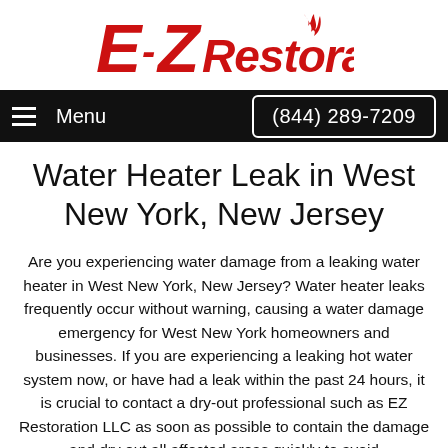[Figure (logo): EZ Restoration logo in red italic text with a flame icon]
Menu   (844) 289-7209
Water Heater Leak in West New York, New Jersey
Are you experiencing water damage from a leaking water heater in West New York, New Jersey? Water heater leaks frequently occur without warning, causing a water damage emergency for West New York homeowners and businesses. If you are experiencing a leaking hot water system now, or have had a leak within the past 24 hours, it is crucial to contact a dry-out professional such as EZ Restoration LLC as soon as possible to contain the damage and dry out all affected areas quickly to avoid